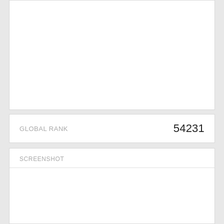[Figure (other): Empty white card area at the top of the page]
| GLOBAL RANK | 54231 |
| --- | --- |
SCREENSHOT
[Figure (screenshot): Empty white screenshot area]